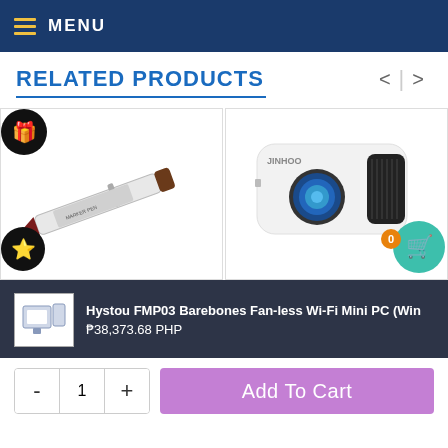MENU
RELATED PRODUCTS
[Figure (photo): A red-tipped marker pen (whiteboard marker) shown diagonally on white background]
[Figure (photo): A white and black mini portable projector on white background with shopping cart badge]
Hystou FMP03 Barebones Fan-less Wi-Fi Mini PC (Win
₱38,373.68 PHP
Add To Cart